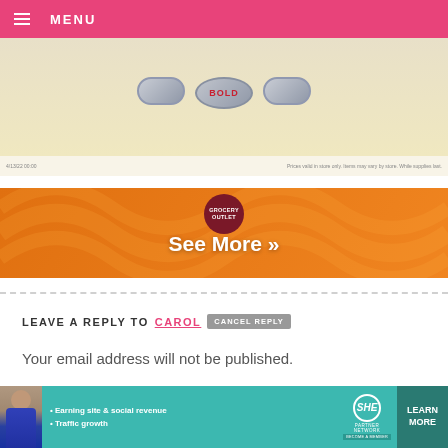MENU
[Figure (screenshot): Grocery store ad with circular product badges including a 'BOLD' badge on a cream background, with fine print at the bottom]
[Figure (illustration): Orange decorative banner with Grocery Outlet logo and 'See More »' call-to-action text]
LEAVE A REPLY TO CAROL  CANCEL REPLY
Your email address will not be published.
Comment
[Figure (screenshot): SHE Partner Network advertisement banner with person photo, bullets 'Earning site & social revenue' and 'Traffic growth', SHE logo, and 'LEARN MORE' button]